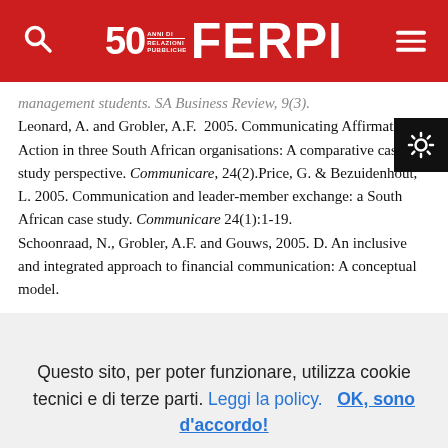FERPI - 50 anni di relazioni pubbliche
management students. SA Business Review, 9(3). Leonard, A. and Grobler, A.F. 2005. Communicating Affirmative Action in three South African organisations: A comparative case study perspective. Communicare, 24(2).Price, G. & Bezuidenhout, L. 2005. Communication and leader-member exchange: a South African case study. Communicare 24(1):1-19. Schoonraad, N., Grobler, A.F. and Gouws, 2005. D. An inclusive and integrated approach to financial communication: A conceptual model.
Questo sito, per poter funzionare, utilizza cookie tecnici e di terze parti. Leggi la policy.   OK, sono d'accordo!